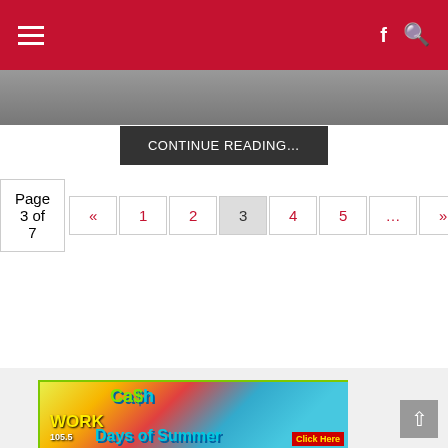Navigation bar with hamburger menu, f and search icons
[Figure (photo): Partial photo strip at top of article]
Floyd sweeps BNL in HHC semifinal
BEDFORD – Floyd Central advanced to the Hoosier Hills Conference tournament final with a 5-0 victory over Bedford North Lawrence during boys high school tennis…
CONTINUE READING…
Page 3 of 7  «  1  2  3  4  5  ...  »  Last »
[Figure (illustration): WORK 105.5 Cash Days of Summer promotional advertisement banner with watermelon and summer imagery, Click Here button]